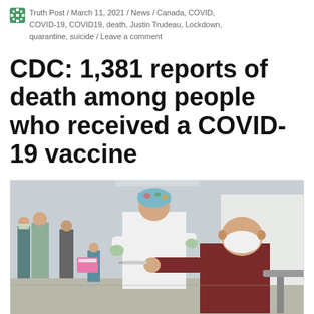Truth Post / March 11, 2021 / News / Canada, COVID, COVID-19, COVID19, death, Justin Trudeau, Lockdown, quarantine, suicide / Leave a comment
CDC: 1,381 reports of death among people who received a COVID-19 vaccine
[Figure (photo): A healthcare worker in white protective suit and colorful surgical cap administering a vaccine injection to an elderly man wearing a dark red jacket and white N95 mask, seated in a chair. Background shows a large indoor hall with other people and medical staff.]